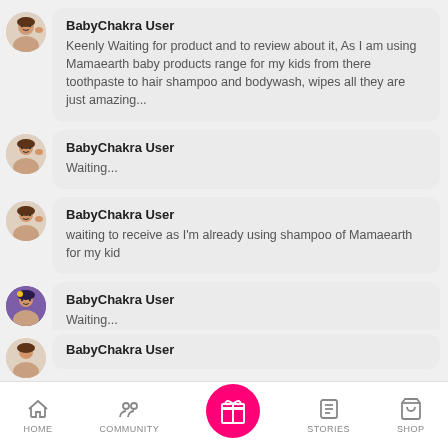BabyChakra User
Keenly Waiting for product and to review about it, As I am using Mamaearth baby products range for my kids from there toothpaste to hair shampoo and bodywash, wipes all they are just amazing...
BabyChakra User
Waiting...
BabyChakra User
waiting to receive as I'm already using shampoo of Mamaearth for my kid
BabyChakra User
Waiting...
BabyChakra User